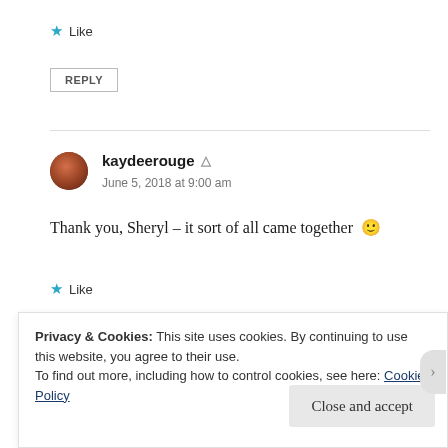★ Like
REPLY
kaydeerouge ▲
June 5, 2018 at 9:00 am
Thank you, Sheryl – it sort of all came together 🙂
★ Like
Privacy & Cookies: This site uses cookies. By continuing to use this website, you agree to their use.
To find out more, including how to control cookies, see here: Cookie Policy
Close and accept